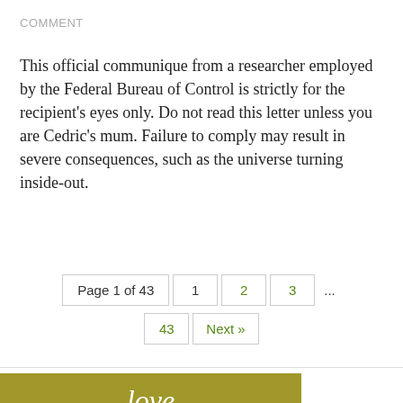COMMENT
This official communique from a researcher employed by the Federal Bureau of Control is strictly for the recipient’s eyes only. Do not read this letter unless you are Cedric’s mum. Failure to comply may result in severe consequences, such as the universe turning inside-out.
Page 1 of 43   1   2   3   ...   43   Next »
[Figure (other): Olive/gold colored banner with italic white text reading 'love']